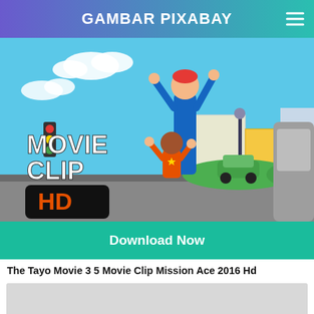GAMBAR PIXABAY
[Figure (screenshot): Animated movie clip thumbnail showing cartoon characters in a city scene with 'MOVIE CLIP HD' text overlay]
Download Now
The Tayo Movie 3 5 Movie Clip Mission Ace 2016 Hd
[Figure (other): Gray placeholder image area]